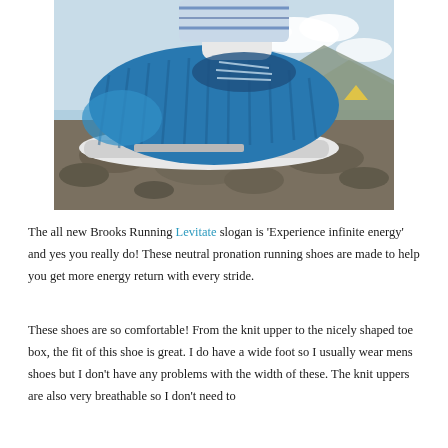[Figure (photo): Close-up photo of a blue Brooks Running Levitate shoe on rocky ground with mountains and sky in the background. The wearer has patterned leggings and a white sock visible above the shoe.]
The all new Brooks Running Levitate slogan is 'Experience infinite energy' and yes you really do! These neutral pronation running shoes are made to help you get more energy return with every stride.
These shoes are so comfortable! From the knit upper to the nicely shaped toe box, the fit of this shoe is great. I do have a wide foot so I usually wear mens shoes but I don't have any problems with the width of these. The knit uppers are also very breathable so I don't need to